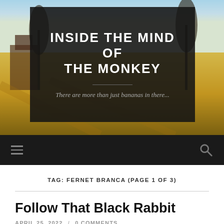[Figure (photo): Blog header with dark semi-transparent overlay on a countryside landscape background with golden fields, trees, and blue sky]
INSIDE THE MIND OF THE MONKEY
There are more than just bananas in there...
TAG: FERNET BRANCA (PAGE 1 OF 3)
Follow That Black Rabbit
APRIL 25, 2022 / 0 COMMENTS
[Figure (photo): Partial view of a blog post thumbnail image at the bottom of the page]